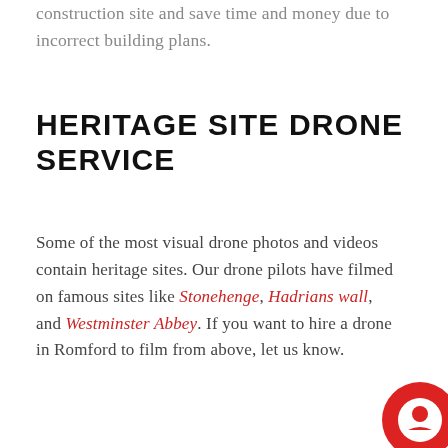construction site and save time and money due to incorrect building plans.
HERITAGE SITE DRONE SERVICE
Some of the most visual drone photos and videos contain heritage sites. Our drone pilots have filmed on famous sites like Stonehenge, Hadrians wall, and Westminster Abbey. If you want to hire a drone in Romford to film from above, let us know.